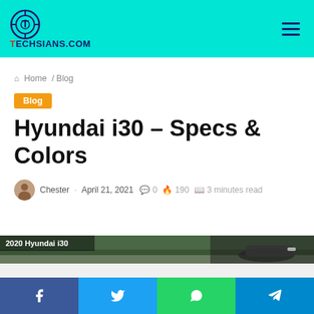Techsians.com
Home / Blog
Blog
Hyundai i30 – Specs & Colors
Chester · April 21, 2021 · 0 comments · 190 · 3 minutes read
[Figure (photo): 2020 Hyundai i30 hero image banner]
[Figure (infographic): Social share bar with Facebook, Twitter, WhatsApp, Telegram buttons]